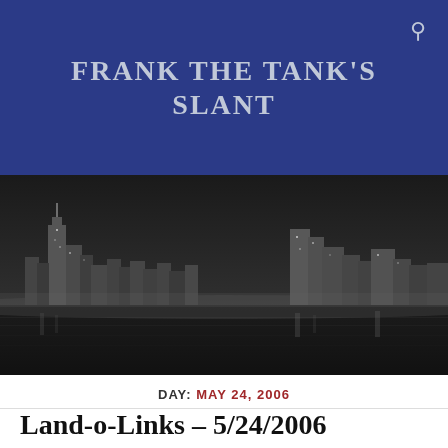FRANK THE TANK'S SLANT
[Figure (photo): Black and white nighttime cityscape of Chicago skyline reflecting on Lake Michigan]
DAY: MAY 24, 2006
Land-o-Links – 5/24/2006
ON MAY 24, 2006 / BY FRANK THE TANK